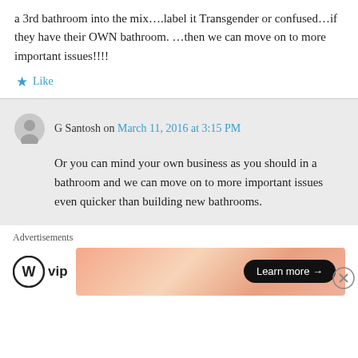a 3rd bathroom into the mix….label it Transgender or confused…if they have their OWN bathroom. …then we can move on to more important issues!!!!
Like
G Santosh on March 11, 2016 at 3:15 PM
Or you can mind your own business as you should in a bathroom and we can move on to more important issues even quicker than building new bathrooms.
Advertisements